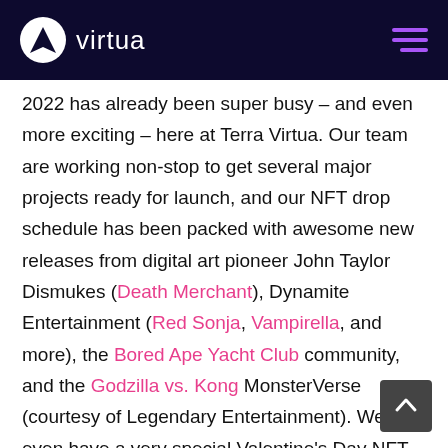virtua
2022 has already been super busy – and even more exciting – here at Terra Virtua. Our team are working non-stop to get several major projects ready for launch, and our NFT drop schedule has been packed with awesome new releases from digital art pioneer John Taylor Dismukes (Death Merchant), Dynamite Entertainment (Red Sonja, Vampirella, and more), the Bored Ape Yacht Club community, and the Godzilla vs. Kong MonsterVerse (courtesy of Legendary Entertainment). We even have a very special Valentine's Day NFT collection from one of our favourite artists – Jim Wheat – it's called 'Love & Cherish'